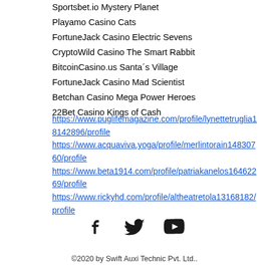Sportsbet.io Mystery Planet
Playamo Casino Cats
FortuneJack Casino Electric Sevens
CryptoWild Casino The Smart Rabbit
BitcoinCasino.us Santa´s Village
FortuneJack Casino Mad Scientist
Betchan Casino Mega Power Heroes
22Bet Casino Kings of Cash
https://www.puglifemagazine.com/profile/lynettetruglia18142896/profile https://www.acquaviva.yoga/profile/merlintorain14830760/profile https://www.beta1914.com/profile/patriakanelos16462269/profile https://www.rickyhd.com/profile/altheatretola13168182/profile
[Figure (illustration): Social media icons: Facebook, Twitter, YouTube]
©2020 by Swift Auxi Technic Pvt. Ltd..